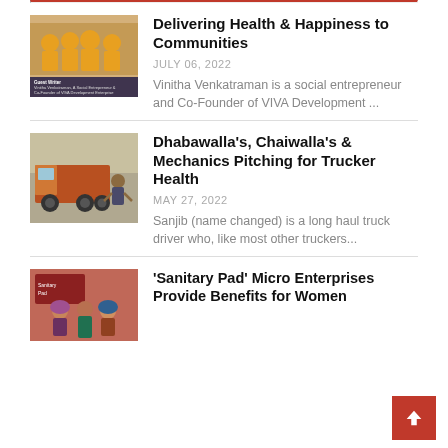[Figure (photo): Group of women in orange vests smiling, with a text overlay mentioning Vinitha Venkatraman, social entrepreneur and Co-Founder of VIVA Development]
Delivering Health & Happiness to Communities
JULY 06, 2022
Vinitha Venkatraman is a social entrepreneur and Co-Founder of VIVA Development ...
[Figure (photo): Man standing in front of a large truck, arms crossed]
Dhabawalla's, Chaiwalla's & Mechanics Pitching for Trucker Health
MAY 27, 2022
Sanjib (name changed) is a long haul truck driver who, like most other truckers...
[Figure (photo): Women gathered around a table with products, appears to be a sanitary pad micro enterprise]
'Sanitary Pad' Micro Enterprises Provide Benefits for Women